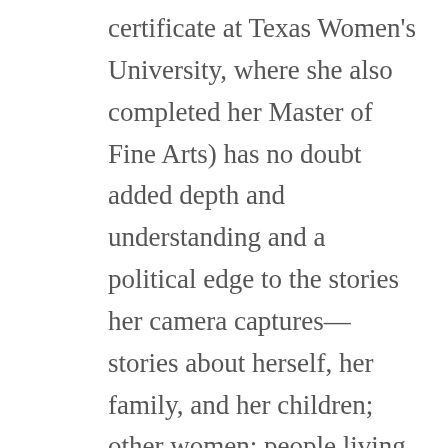certificate at Texas Women's University, where she also completed her Master of Fine Arts) has no doubt added depth and understanding and a political edge to the stories her camera captures—stories about herself, her family, and her children; other women; people living, due to disease or poverty, on the margins of our perception; as well as stories about the things we own, wear, and use, things that shape our lives even as we shape them, too. Themes of kinship, love, and friendship, both past and present, of memory and identity, health and